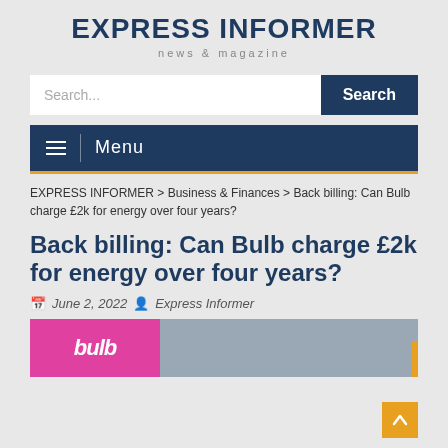EXPRESS INFORMER
news & magazine
Search...
Menu
EXPRESS INFORMER > Business & Finances > Back billing: Can Bulb charge £2k for energy over four years?
Back billing: Can Bulb charge £2k for energy over four years?
June 2, 2022   Express Informer
[Figure (photo): Image showing Bulb energy company logo (pink background with white stylized text 'bulb') on the left, and a person on the right side]